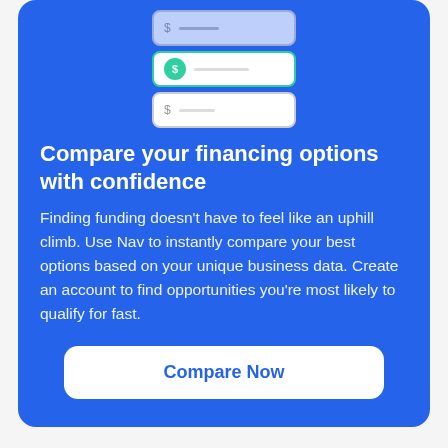[Figure (illustration): Illustration of stacked dollar input boxes, one highlighted with a teal circle dollar sign icon]
Compare your financing options with confidence
Finding funding doesn't have to feel like an uphill climb. Use Nav to instantly compare your best options based on your unique business data. Create an account to find opportunities you're most likely to qualify for fast.
Compare Now
7 steps to es...d
1. Build your foundation
How can I help you today?